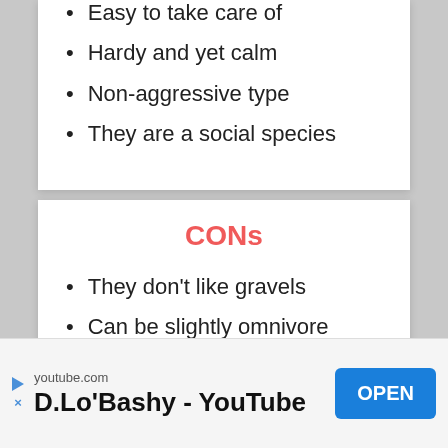Easy to take care of
Hardy and yet calm
Non-aggressive type
They are a social species
CONs
They don't like gravels
Can be slightly omnivore
Cannot live alone
youtube.com
D.Lo'Bashy - YouTube
OPEN